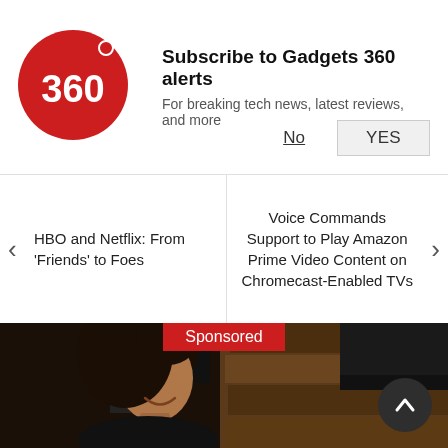[Figure (logo): Gadgets 360 red circle logo with '360' text in white]
Subscribe to Gadgets 360 alerts
For breaking tech news, latest reviews, and more
No   YES
< HBO and Netflix: From 'Friends' to Foes
Voice Commands Support to Play Amazon Prime Video Content on Chromecast-Enabled TVs >
Sponsored
[Figure (photo): A woman with curly dark hair in a dark kitchen setting, smiling, wearing dark clothing]